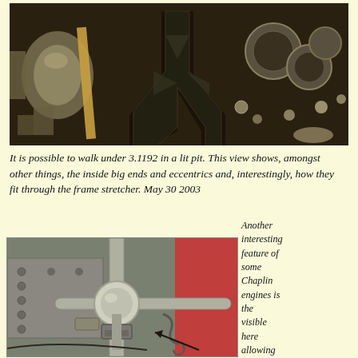[Figure (photo): Underside view of locomotive 3.1192 in a lit inspection pit, showing inside big ends, eccentrics, and frame stretcher components]
It is possible to walk under 3.1192 in a lit pit. This view shows, amongst other things, the inside big ends and eccentrics and, interestingly, how they fit through the frame stretcher. May 30 2003
[Figure (photo): Close-up photo of locomotive engine components showing mechanical linkage, springs, and fittings on the engine frame]
Another interesting feature of some Chaplin engines is the visible here allowing char...